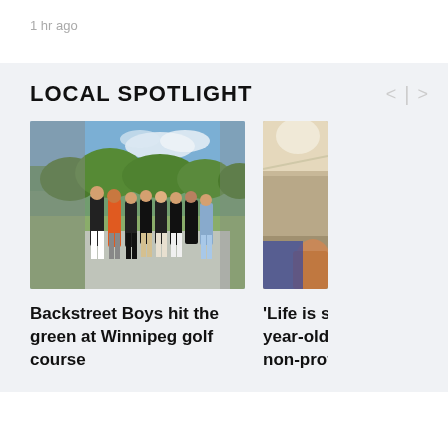1 hr ago
LOCAL SPOTLIGHT
[Figure (photo): Group of people standing together on a golf course path with trees in background — Backstreet Boys at Winnipeg golf course]
Backstreet Boys hit the green at Winnipeg golf course
[Figure (photo): Partial view of a second photo showing interior/person, partially cropped]
'Life is sho year-old sk non-profit